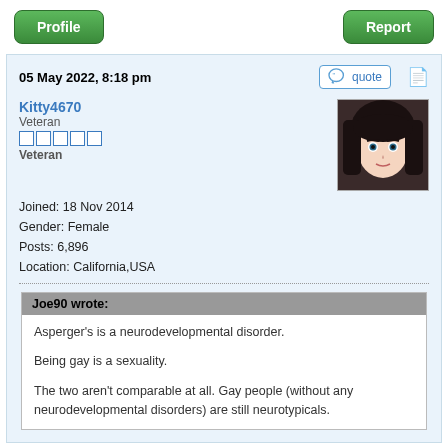Profile | Report
05 May 2022, 8:18 pm
Kitty4670
Veteran
Veteran
Joined: 18 Nov 2014
Gender: Female
Posts: 6,896
Location: California,USA
Joe90 wrote:
Asperger's is a neurodevelopmental disorder.

Being gay is a sexuality.

The two aren't comparable at all. Gay people (without any neurodevelopmental disorders) are still neurotypicals.
I said it's not the same. She don't care what I have.